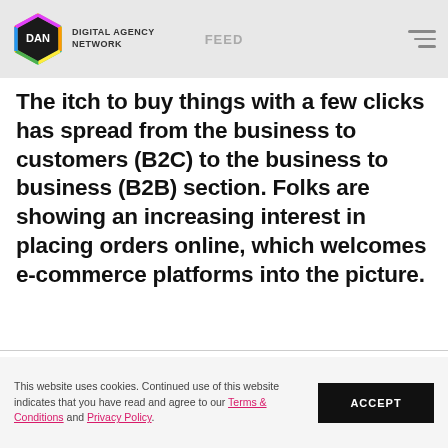DIGITAL AGENCY NETWORK | FEED
The itch to buy things with a few clicks has spread from the business to customers (B2C) to the business to business (B2B) section. Folks are showing an increasing interest in placing orders online, which welcomes e-commerce platforms into the picture.
This website uses cookies. Continued use of this website indicates that you have read and agree to our Terms & Conditions and Privacy Policy.